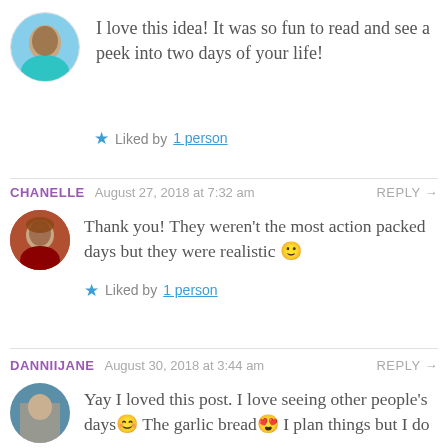I love this idea! It was so fun to read and see a peek into two days of your life!
Liked by 1 person
CHANELLE  August 27, 2018 at 7:32 am  REPLY →
Thank you! They weren't the most action packed days but they were realistic 🙂
Liked by 1 person
DANNIIJANE  August 30, 2018 at 3:44 am  REPLY →
Yay I loved this post. I love seeing other people's days😊 The garlic bread😍 I plan things but I do